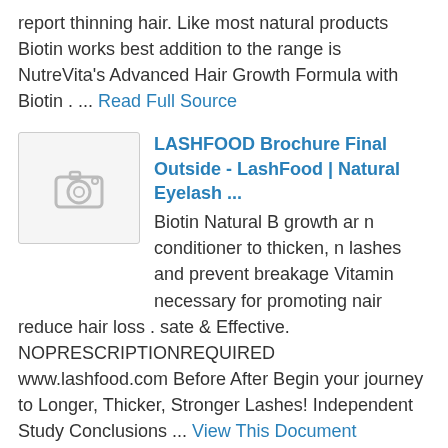report thinning hair. Like most natural products Biotin works best addition to the range is NutreVita's Advanced Hair Growth Formula with Biotin . ... Read Full Source
LASHFOOD Brochure Final Outside - LashFood | Natural Eyelash ...
Biotin Natural B growth ar n conditioner to thicken, n lashes and prevent breakage Vitamin necessary for promoting nair reduce hair loss . sate & Effective. NOPRESCRIPTIONREQUIRED www.lashfood.com Before After Begin your journey to Longer, Thicker, Stronger Lashes! Independent Study Conclusions ... View This Document
Hair Loss , Help Please! (Post Gastric Sleeve)
Hi all i just had the gastric sleeve 5 months ago and i am losing my hair I was losing alot of hair & started taking Biotin supplements which are helping it is treatment shampoos and conditioners and it stops hair loss instantly.If you are feeling